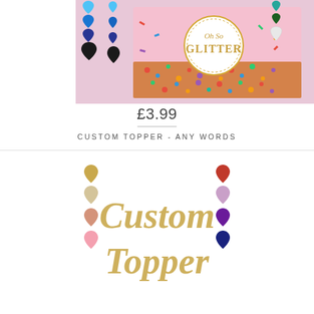[Figure (photo): Product listing image showing a pink sprinkle cake with a circular 'Oh So Glitter' cake topper in gold. Glitter heart color swatches are displayed on both left and right sides: left side has blue, royal blue, navy, and black hearts; right side has teal, green, white hearts. Background is white.]
£3.99
CUSTOM TOPPER - ANY WORDS
[Figure (photo): Second product listing image showing a gold glitter cake topper reading 'Custom Topper' in cursive script. Glitter heart color swatches on left: gold, champagne, peach, pink. On right: red, lavender, purple, navy.]